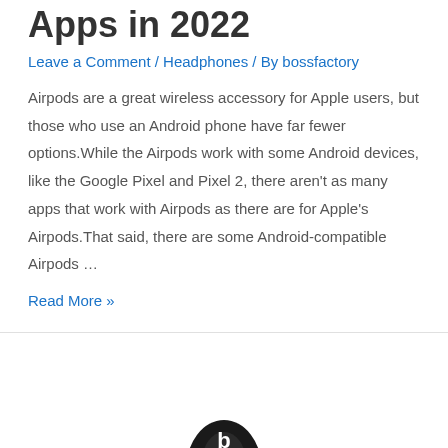Apps in 2022
Leave a Comment / Headphones / By bossfactory
Airpods are a great wireless accessory for Apple users, but those who use an Android phone have far fewer options.While the Airpods work with some Android devices, like the Google Pixel and Pixel 2, there aren't as many apps that work with Airpods as there are for Apple's Airpods.That said, there are some Android-compatible Airpods …
Read More »
[Figure (photo): Partial image of black headphones visible at bottom of page]